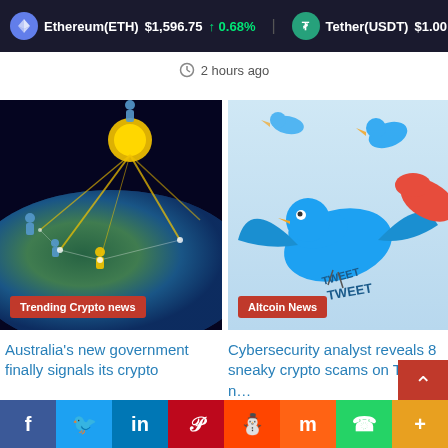Ethereum(ETH) $1,596.75 ↑ 0.68%   Tether(USDT) $1.00 ↑ 0
2 hours ago
[Figure (illustration): Crypto network illustration with figures on a globe with golden light beams, labeled Trending Crypto news]
[Figure (illustration): Illustration of blue Twitter birds flying with TWEET text, labeled Altcoin News]
Australia's new government finally signals its crypto
Cybersecurity analyst reveals 8 sneaky crypto scams on Twitter n…